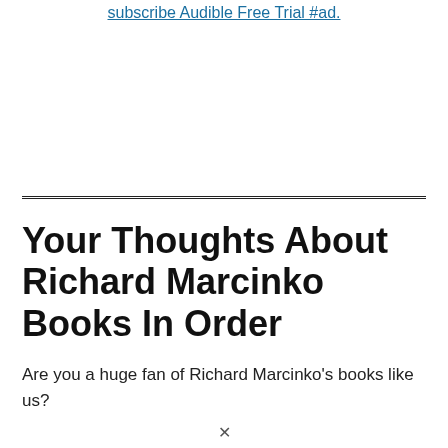subscribe Audible Free Trial #ad.
Your Thoughts About Richard Marcinko Books In Order
Are you a huge fan of Richard Marcinko's books like us?